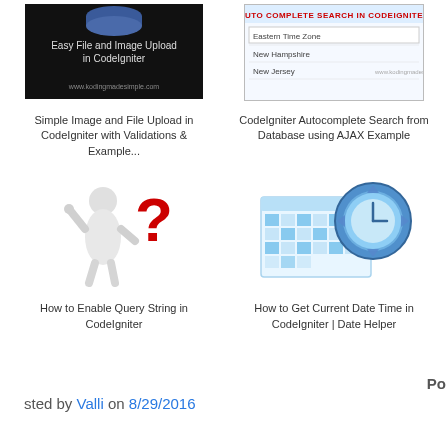[Figure (screenshot): Thumbnail for 'Easy File and Image Upload in CodeIgniter' tutorial with dark background and white text]
Simple Image and File Upload in CodeIgniter with Validations & Example...
[Figure (screenshot): Thumbnail for 'Auto Complete Search in CodeIgniter' showing a dropdown autocomplete UI with Eastern Time Zone, New Hampshire, New Jersey options]
CodeIgniter Autocomplete Search from Database using AJAX Example
[Figure (illustration): 3D figure of a person with a large red question mark]
How to Enable Query String in CodeIgniter
[Figure (illustration): Calendar icon with blue clock overlay illustration]
How to Get Current Date Time in CodeIgniter | Date Helper
Posted by Valli on 8/29/2016